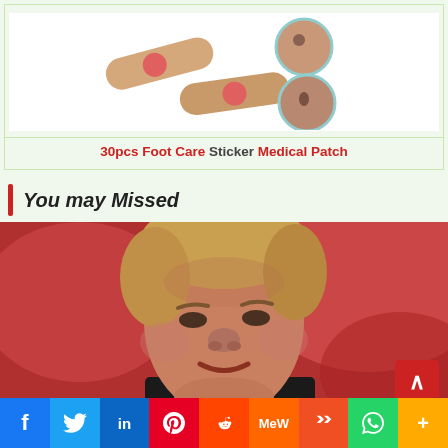[Figure (photo): Product photo of 30pcs Foot Care Sticker Medical Patch — two beige rectangular patches with red circles, alongside circular photos of skin/back]
30pcs Foot Care Sticker Medical Patch
You may Missed
[Figure (photo): News article photo of a man at a political rally with red crowd background]
[Figure (infographic): Social media share bar with icons: Facebook, Twitter, LinkedIn, Pinterest, Reddit, MeWe, Mix, WhatsApp, More]